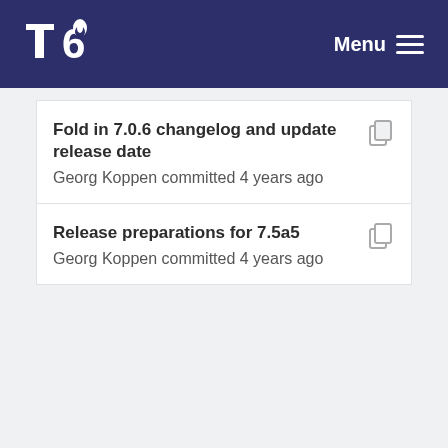Tor Menu
Fold in 7.0.6 changelog and update release date
Georg Koppen committed 4 years ago
Release preparations for 7.5a5
Georg Koppen committed 4 years ago